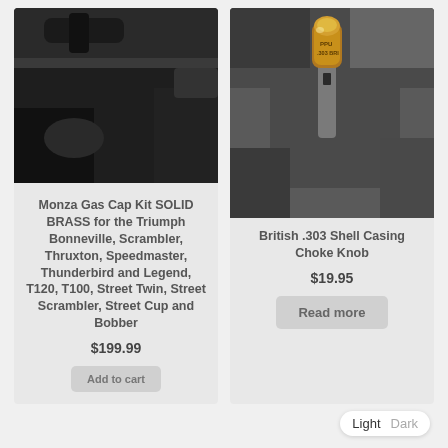[Figure (photo): Close-up photo of a motorcycle handlebar area with a shiny gold/brass Monza gas cap on a black motorcycle.]
Monza Gas Cap Kit SOLID BRASS for the Triumph Bonneville, Scrambler, Thruxton, Speedmaster, Thunderbird and Legend, T120, T100, Street Twin, Street Scrambler, Street Cup and Bobber
$199.99
[Figure (photo): Close-up photo of a British .303 shell casing used as a choke knob, showing a brass bullet cartridge inserted into motorcycle carburetor hardware.]
British .303 Shell Casing Choke Knob
$19.95
Read more
Light Dark